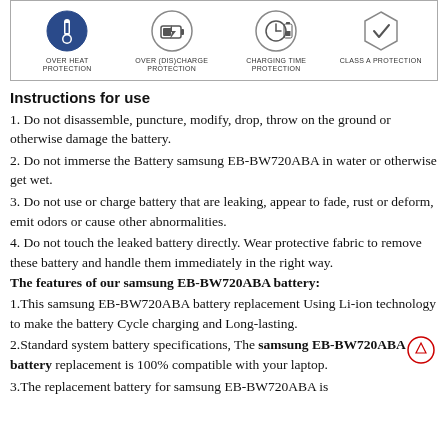[Figure (infographic): Four protection icons in a bordered box: Over Heat Protection, Over (Dis)charge Protection, Charging Time Protection, Class A Protection]
Instructions for use
1. Do not disassemble, puncture, modify, drop, throw on the ground or otherwise damage the battery.
2. Do not immerse the Battery samsung EB-BW720ABA in water or otherwise get wet.
3. Do not use or charge battery that are leaking, appear to fade, rust or deform, emit odors or cause other abnormalities.
4. Do not touch the leaked battery directly. Wear protective fabric to remove these battery and handle them immediately in the right way.
The features of our samsung EB-BW720ABA battery:
1.This samsung EB-BW720ABA battery replacement Using Li-ion technology to make the battery Cycle charging and Long-lasting.
2.Standard system battery specifications, The samsung EB-BW720ABA battery replacement is 100% compatible with your laptop.
3.The replacement battery for samsung EB-BW720ABA is